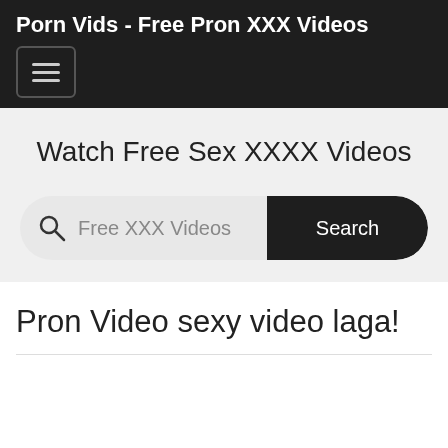Porn Vids - Free Pron XXX Videos
Watch Free Sex XXXX Videos
[Figure (other): Search bar with magnifying glass icon, placeholder text 'Free XXX Videos', and a dark 'Search' button on the right]
Pron Video sexy video laga!